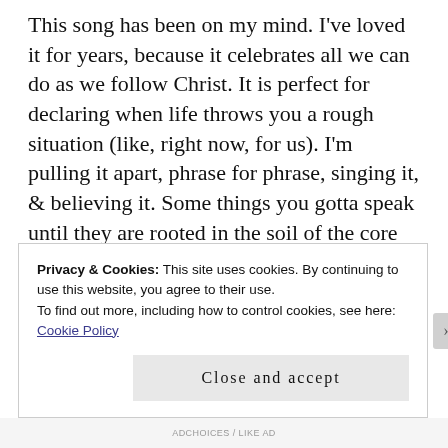This song has been on my mind. I've loved it for years, because it celebrates all we can do as we follow Christ. It is perfect for declaring when life throws you a rough situation (like, right now, for us). I'm pulling it apart, phrase for phrase, singing it, & believing it. Some things you gotta speak until they are rooted in the soil of the core of your being.

Another great one we've been singing around our house lately is (a 'lil more juvenile! But still, great words), "He's got the whole world in His hands".  It always makes me
Privacy & Cookies: This site uses cookies. By continuing to use this website, you agree to their use.
To find out more, including how to control cookies, see here: Cookie Policy
Close and accept
ADCHOICES / LIKE AD